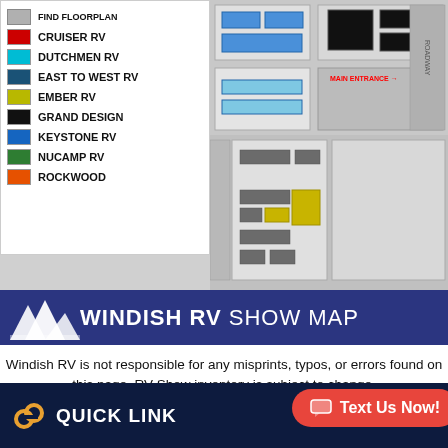[Figure (map): Windish RV Show Map with color-coded legend showing booth locations for various RV brands including Cruiser RV, Dutchmen RV, East to West RV, Ember RV, Grand Design, Keystone RV, NuCamp RV, and Rockwood. Map grid shows booth layouts in upper portion of page.]
WINDISH RV SHOW MAP
Windish RV is not responsible for any misprints, typos, or errors found on this page. RV Show inventory is subject to change. If you have any questions regarding available units, please check with a Windish RV salesperson.
QUICK LINKS